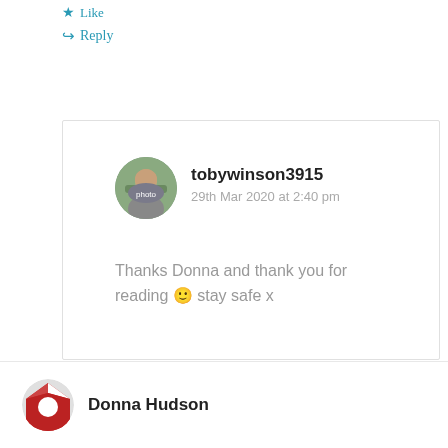★ Like
↳ Reply
tobywinson3915
29th Mar 2020 at 2:40 pm
Thanks Donna and thank you for reading 🙂 stay safe x
★ Like
↳ Reply
Donna Hudson